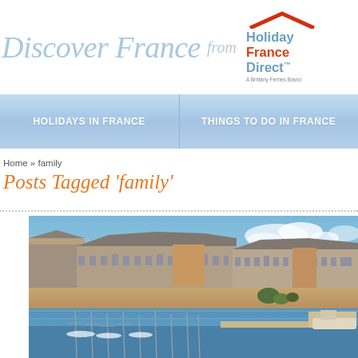Discover France from Holiday France Direct — A Brittany Ferries Brand
HOLIDAYS IN FRANCE | THINGS TO DO IN FRANCE
Home » family
Posts Tagged 'family'
[Figure (photo): Photograph of Saint-Malo walled city (intra-muros) viewed from the sea, showing the historic stone ramparts, grey-roofed buildings and towers against a blue sky with clouds, with a marina in the foreground.]